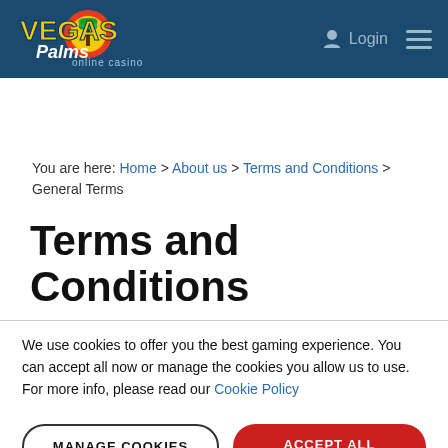[Figure (logo): Vegas Palms Online Casino logo on dark blue header background with Login and hamburger menu icons]
You are here: Home > About us > Terms and Conditions > General Terms
Terms and Conditions
We use cookies to offer you the best gaming experience. You can accept all now or manage the cookies you allow us to use. For more info, please read our Cookie Policy
MANAGE COOKIES | ACCEPT ALL